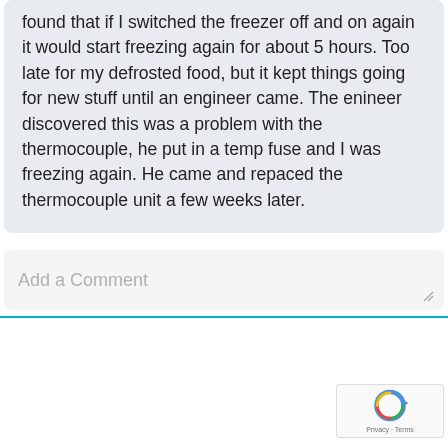found that if I switched the freezer off and on again it would start freezing again for about 5 hours. Too late for my defrosted food, but it kept things going for new stuff until an engineer came. The enineer discovered this was a problem with the thermocouple, he put in a temp fuse and I was freezing again. He came and repaced the thermocouple unit a few weeks later.
Add a Comment
[Figure (logo): reCAPTCHA badge with circular arrow logo and Privacy - Terms text]